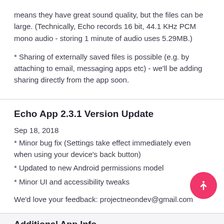means they have great sound quality, but the files can be large. (Technically, Echo records 16 bit, 44.1 KHz PCM mono audio - storing 1 minute of audio uses 5.29MB.)
* Sharing of externally saved files is possible (e.g. by attaching to email, messaging apps etc) - we'll be adding sharing directly from the app soon.
Echo App 2.3.1 Version Update
Sep 18, 2018
* Minor bug fix (Settings take effect immediately even when using your device's back button)
* Updated to new Android permissions model
* Minor UI and accessibility tweaks
We'd love your feedback: projectneondev@gmail.com
Additional App Info